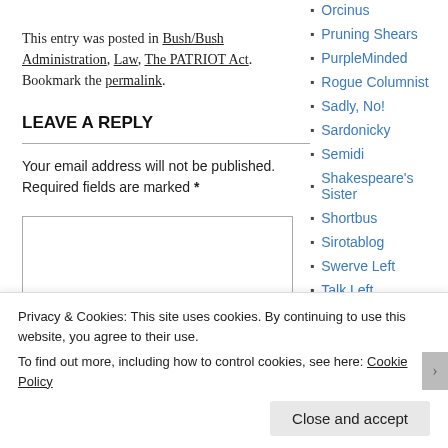This entry was posted in Bush/Bush Administration, Law, The PATRIOT Act. Bookmark the permalink.
LEAVE A REPLY
Your email address will not be published. Required fields are marked *
Orcinus
Pruning Shears
PurpleMinded
Rogue Columnist
Sadly, No!
Sardonicky
Semidi
Shakespeare's Sister
Shortbus
Sirotablog
Swerve Left
Talk Left
Privacy & Cookies: This site uses cookies. By continuing to use this website, you agree to their use. To find out more, including how to control cookies, see here: Cookie Policy